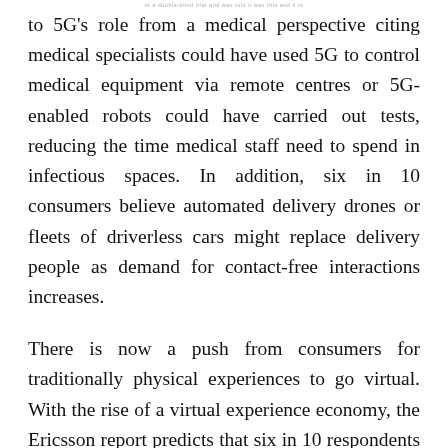in a double-blind trial and was told it was this and it is
to 5G's role from a medical perspective citing medical specialists could have used 5G to control medical equipment via remote centres or 5G-enabled robots could have carried out tests, reducing the time medical staff need to spend in infectious spaces. In addition, six in 10 consumers believe automated delivery drones or fleets of driverless cars might replace delivery people as demand for contact-free interactions increases.
There is now a push from consumers for traditionally physical experiences to go virtual. With the rise of a virtual experience economy, the Ericsson report predicts that six in 10 respondents believe VR will allow them to have the experiences they want, even in isolation. An Ericsson ConsumerLab Merged Reality